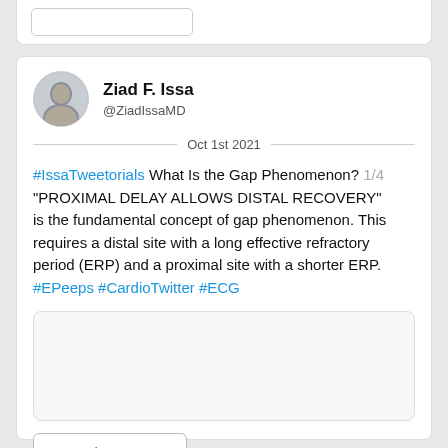[Figure (screenshot): Partial top card with rounded rectangle button placeholder]
Ziad F. Issa @ZiadIssaMD Oct 1st 2021
#IssaTweetorials What Is the Gap Phenomenon? 1/4 "PROXIMAL DELAY ALLOWS DISTAL RECOVERY" is the fundamental concept of gap phenomenon. This requires a distal site with a long effective refractory period (ERP) and a proximal site with a shorter ERP. #EPeeps #CardioTwitter #ECG
[Figure (screenshot): Embedded image placeholder (white box with border)]
Read 4 tweets